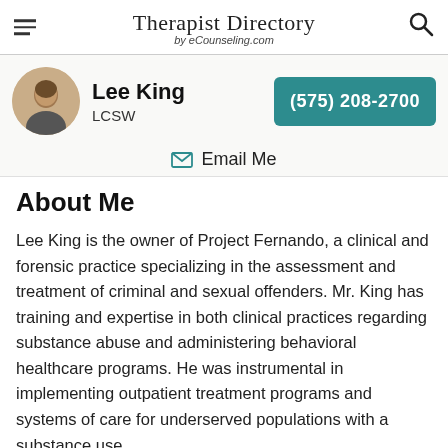Therapist Directory by eCounseling.com
Lee King LCSW (575) 208-2700
Email Me
About Me
Lee King is the owner of Project Fernando, a clinical and forensic practice specializing in the assessment and treatment of criminal and sexual offenders. Mr. King has training and expertise in both clinical practices regarding substance abuse and administering behavioral healthcare programs. He was instrumental in implementing outpatient treatment programs and systems of care for underserved populations with a substance use